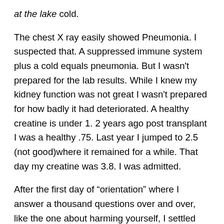at the lake cold.
The chest X ray easily showed Pneumonia. I suspected that. A suppressed immune system plus a cold equals pneumonia. But I wasn't prepared for the lab results. While I knew my kidney function was not great I wasn't prepared for how badly it had deteriorated. A healthy creatine is under 1.  2 years ago post transplant I was a healthy .75. Last year I jumped to 2.5 (not good)where it remained for a while. That day my creatine was 3.8. I was admitted.
After the first day of “orientation” where I answer a thousand questions over and over, like the one about harming yourself,  I settled into the hospital routine of bed checks, vitals, blood work and being woken